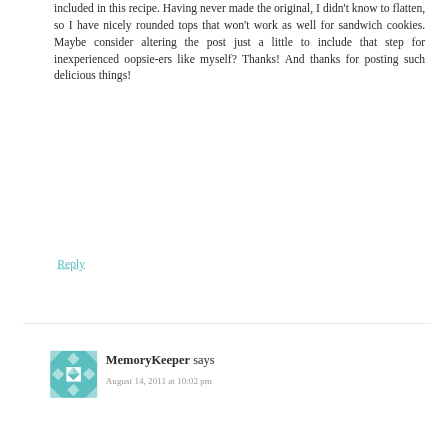included in this recipe. Having never made the original, I didn't know to flatten, so I have nicely rounded tops that won't work as well for sandwich cookies. Maybe consider altering the post just a little to include that step for inexperienced oopsie-ers like myself? Thanks! And thanks for posting such delicious things!
Reply
MemoryKeeper says
August 14, 2011 at 10:02 pm